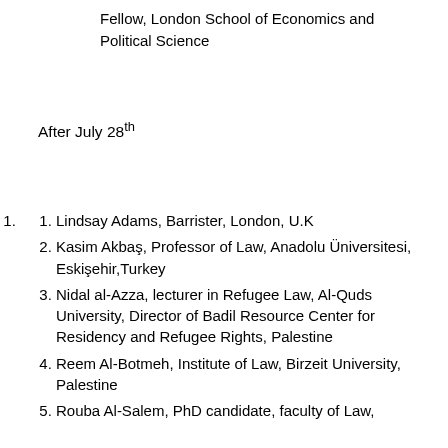Fellow, London School of Economics and Political Science
After July 28th
Lindsay Adams, Barrister, London, U.K
Kasim Akbaş, Professor of Law, Anadolu Üniversitesi, Eskişehir,Turkey
Nidal al-Azza, lecturer in Refugee Law, Al-Quds University, Director of Badil Resource Center for Residency and Refugee Rights, Palestine
Reem Al-Botmeh, Institute of Law, Birzeit University, Palestine
Rouba Al-Salem, PhD candidate, faculty of Law,